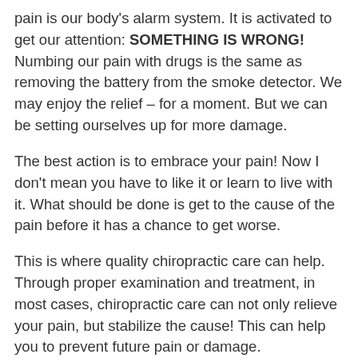pain is our body's alarm system. It is activated to get our attention: SOMETHING IS WRONG! Numbing our pain with drugs is the same as removing the battery from the smoke detector. We may enjoy the relief – for a moment. But we can be setting ourselves up for more damage.
The best action is to embrace your pain! Now I don't mean you have to like it or learn to live with it. What should be done is get to the cause of the pain before it has a chance to get worse.
This is where quality chiropractic care can help. Through proper examination and treatment, in most cases, chiropractic care can not only relieve your pain, but stabilize the cause! This can help you to prevent future pain or damage.
So, before you reach for the bottle of pain reliever, for the umpteenth time: reach for the phone and call your chiropractor!